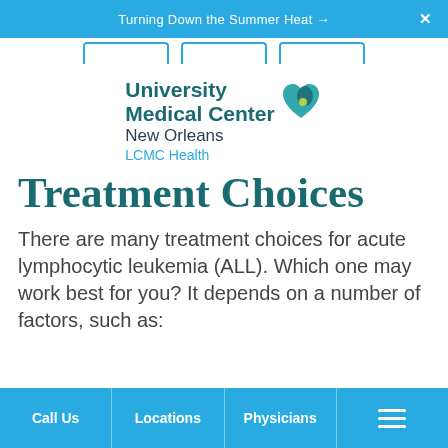Turning Down the Summer Heat →
[Figure (logo): University Medical Center New Orleans LCMC Health logo with teal heart/leaf icon]
Treatment Choices
There are many treatment choices for acute lymphocytic leukemia (ALL). Which one may work best for you? It depends on a number of factors, such as:
Call Us   Locations   Physicians   ≡